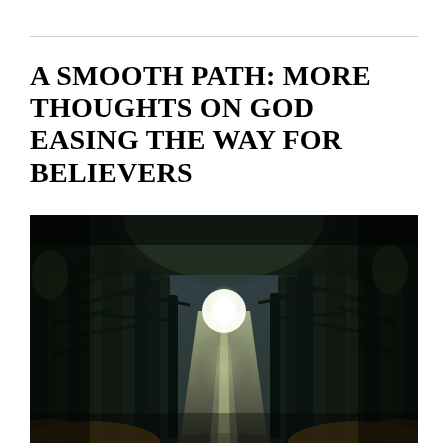A SMOOTH PATH: MORE THOUGHTS ON GOD EASING THE WAY FOR BELIEVERS
[Figure (photo): A forest path tunnel formed by tall dark bare trees on both sides, with a glowing light visible at the far end of the straight road, creating a dramatic perspective effect. The scene is dark and moody with muted greens and blues.]